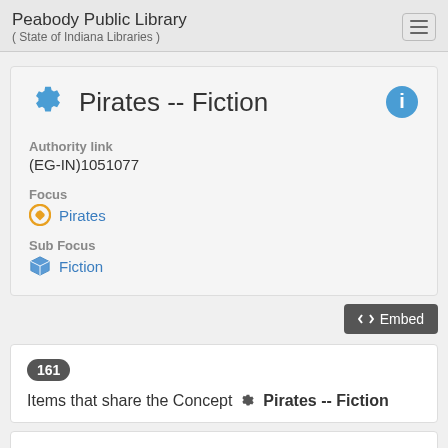Peabody Public Library
( State of Indiana Libraries )
Pirates -- Fiction
Authority link
(EG-IN)1051077
Focus
Pirates
Sub Focus
Fiction
Embed
161 Items that share the Concept  Pirates -- Fiction